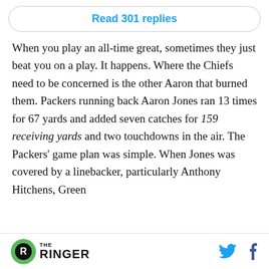Read 301 replies
When you play an all-time great, sometimes they just beat you on a play. It happens. Where the Chiefs need to be concerned is the other Aaron that burned them. Packers running back Aaron Jones ran 13 times for 67 yards and added seven catches for 159 receiving yards and two touchdowns in the air. The Packers’ game plan was simple. When Jones was covered by a linebacker, particularly Anthony Hitchens, Green
THE RINGER